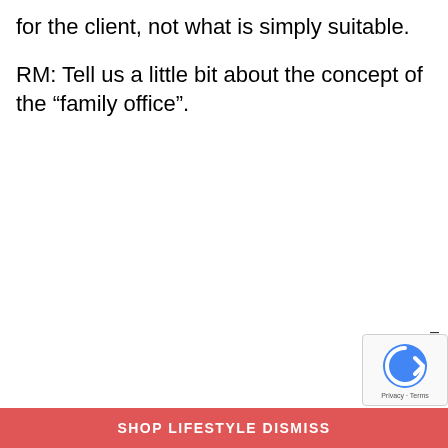for the client, not what is simply suitable.
RM: Tell us a little bit about the concept of the “family office”.
SHOP LIFESTYLE DISMISS